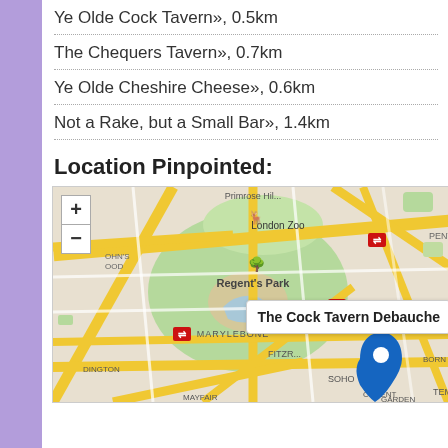Ye Olde Cock Tavern», 0.5km
The Chequers Tavern», 0.7km
Ye Olde Cheshire Cheese», 0.6km
Not a Rake, but a Small Bar», 1.4km
Location Pinpointed:
[Figure (map): Street map of central London showing Regent's Park, London Zoo, Marylebone, Bloomsbury, Soho, Covent Garden areas with a location pin marker and popup label 'The Cock Tavern Debauche']